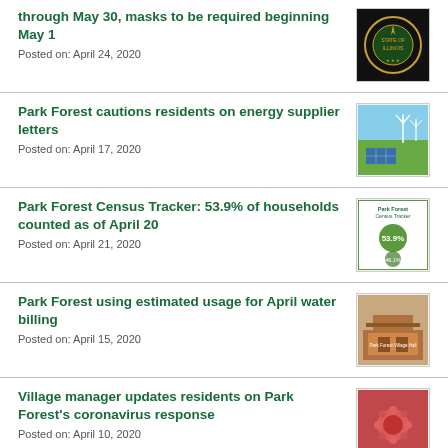through May 30, masks to be required beginning May 1
Posted on: April 24, 2020
Park Forest cautions residents on energy supplier letters
Posted on: April 17, 2020
Park Forest Census Tracker: 53.9% of households counted as of April 20
Posted on: April 21, 2020
Park Forest using estimated usage for April water billing
Posted on: April 15, 2020
Village manager updates residents on Park Forest's coronavirus response
Posted on: April 10, 2020